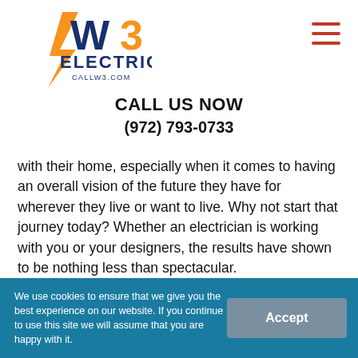[Figure (logo): W3 Electric logo with lightning bolt and text CALLW3.COM]
CALL US NOW
(972) 793-0733
with their home, especially when it comes to having an overall vision of the future they have for wherever they live or want to live. Why not start that journey today? Whether an electrician is working with you or your designers, the results have shown to be nothing less than spectacular.
We use cookies to ensure that we give you the best experience on our website. If you continue to use this site we will assume that you are happy with it.